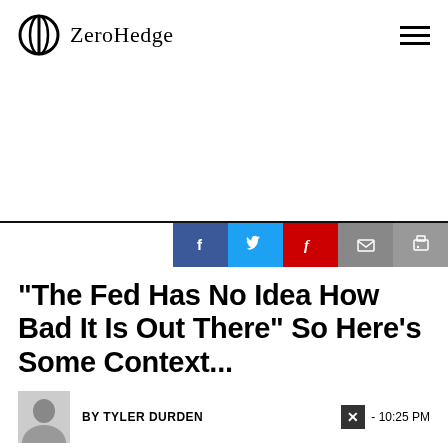ZeroHedge
[Figure (other): Advertisement/blank space]
"The Fed Has No Idea How Bad It Is Out There" So Here's Some Context...
BY TYLER DURDEN
- 10:25 PM
To chat
video